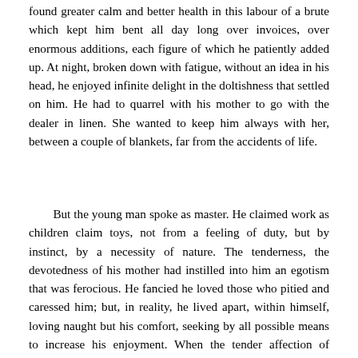found greater calm and better health in this labour of a brute which kept him bent all day long over invoices, over enormous additions, each figure of which he patiently added up. At night, broken down with fatigue, without an idea in his head, he enjoyed infinite delight in the doltishness that settled on him. He had to quarrel with his mother to go with the dealer in linen. She wanted to keep him always with her, between a couple of blankets, far from the accidents of life.
But the young man spoke as master. He claimed work as children claim toys, not from a feeling of duty, but by instinct, by a necessity of nature. The tenderness, the devotedness of his mother had instilled into him an egotism that was ferocious. He fancied he loved those who pitied and caressed him; but, in reality, he lived apart, within himself, loving naught but his comfort, seeking by all possible means to increase his enjoyment. When the tender affection of Madame Raquin disgusted him, he plunged with delight